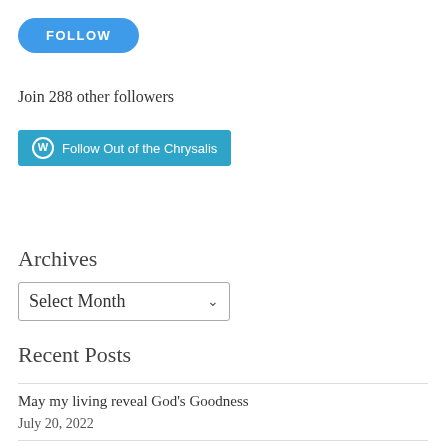[Figure (other): Blue rounded FOLLOW button]
Join 288 other followers
[Figure (other): WordPress Follow Out of the Chrysalis teal button]
Archives
[Figure (other): Select Month dropdown box]
Recent Posts
May my living reveal God's Goodness
July 20, 2022